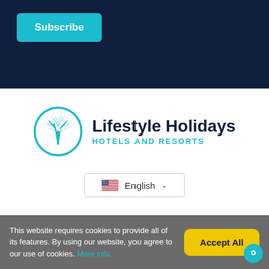[Figure (other): Dark navy top bar area]
Subscribe
[Figure (logo): Lifestyle Holidays Hotels and Resorts logo with teal palm tree circle icon]
🇺🇸 English ∨
This website requires cookies to provide all of its features. By using our website, you agree to our use of cookies. More info.
Accept All